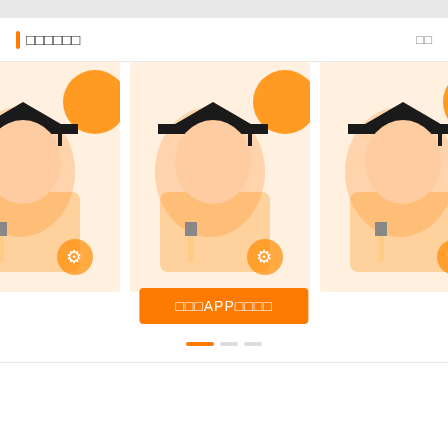□□□□□□
□□
[Figure (illustration): Three educational app promotional illustration cards showing a student with graduation cap in orange style, partially visible left and right cards, center card with orange overlay button reading □□□APP□□□□]
□□□APP□□□□
0  0  0  43